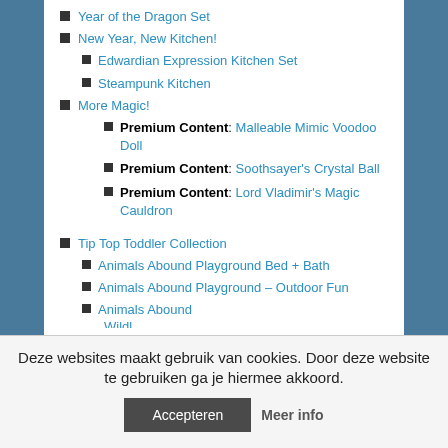Year of the Dragon Set
New Year, New Kitchen!
Edwardian Expression Kitchen Set
Steampunk Kitchen
More Magic!
Premium Content: Malleable Mimic Voodoo Doll
Premium Content: Soothsayer's Crystal Ball
Premium Content: Lord Vladimir's Magic Cauldron
Tip Top Toddler Collection
Animals Abound Playground Bed + Bath
Animals Abound Playground – Outdoor Fun
Animals Abound
Deze websites maakt gebruik van cookies. Door deze website te gebruiken ga je hiermee akkoord.
Accepteren
Meer info